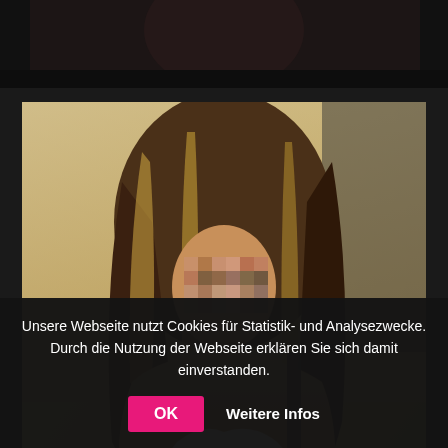[Figure (photo): Partial dark photo at top of page, appears to show a shadowed figure]
[Figure (photo): Photo of a woman with highlighted blonde-brown hair, face pixelated/blurred, holding white fabric, seated outdoors against a sandy/concrete background. Watermark text 'Simply Top' overlaid in italic script.]
Unsere Webseite nutzt Cookies für Statistik- und Analysezwecke. Durch die Nutzung der Webseite erklären Sie sich damit einverstanden.
OK
Weitere Infos